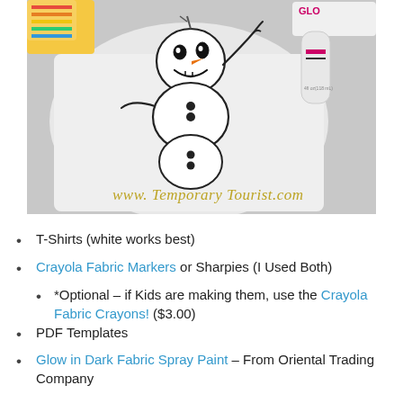[Figure (photo): Photo of a white t-shirt with an Olaf (Frozen character) iron-on or traced design in black outline with orange carrot nose, alongside a glow-in-the-dark fabric spray paint tube. Watermark text reads 'www.TemporaryTourist.com' in gold script at the bottom of the photo.]
T-Shirts (white works best)
Crayola Fabric Markers or Sharpies (I Used Both)
*Optional – if Kids are making them, use the Crayola Fabric Crayons! ($3.00)
PDF Templates
Glow in Dark Fabric Spray Paint – From Oriental Trading Company